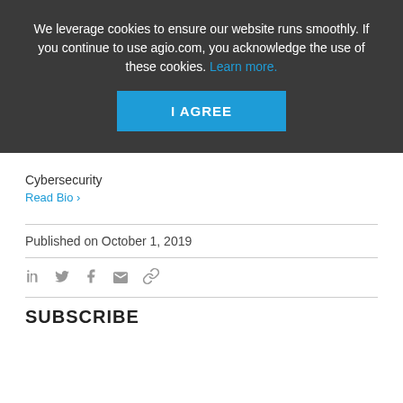We leverage cookies to ensure our website runs smoothly. If you continue to use agio.com, you acknowledge the use of these cookies. Learn more.
I AGREE
Cybersecurity
Read Bio ›
Published on October 1, 2019
SUBSCRIBE